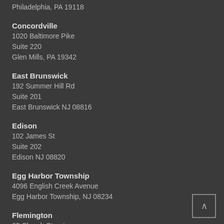Philadelphia, PA 19118
Concordville
1020 Baltimore Pike
Suite 220
Glen Mills, PA 19342
East Brunswick
192 Summer Hill Rd
Suite 201
East Brunswick NJ 08816
Edison
102 James St
Suite 202
Edison NJ 08820
Egg Harbor Township
4096 English Creek Avenue
Egg Harbor Township, NJ 08234
Flemington
63 Church Street
Suite 102
Flemington NJ 08822
Florham Park
83 Hanover Road
Suite 260